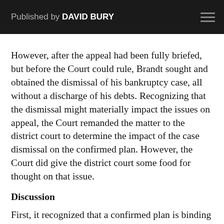Published by DAVID BURY
However, after the appeal had been fully briefed, but before the Court could rule, Brandt sought and obtained the dismissal of his bankruptcy case, all without a discharge of his debts. Recognizing that the dismissal might materially impact the issues on appeal, the Court remanded the matter to the district court to determine the impact of the case dismissal on the confirmed plan. However, the Court did give the district court some food for thought on that issue.
Discussion
First, it recognized that a confirmed plan is binding on the debtor and his creditors under §